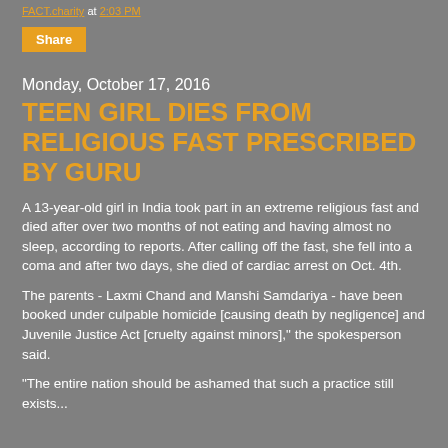FACT.charity at 2:03 PM
Share
Monday, October 17, 2016
TEEN GIRL DIES FROM RELIGIOUS FAST PRESCRIBED BY GURU
A 13-year-old girl in India took part in an extreme religious fast and died after over two months of not eating and having almost no sleep, according to reports. After calling off the fast, she fell into a coma and after two days, she died of cardiac arrest on Oct. 4th.
The parents - Laxmi Chand and Manshi Samdariya - have been booked under culpable homicide [causing death by negligence] and Juvenile Justice Act [cruelty against minors]," the spokesperson said.
"The entire nation should be ashamed that such a practice still exists...